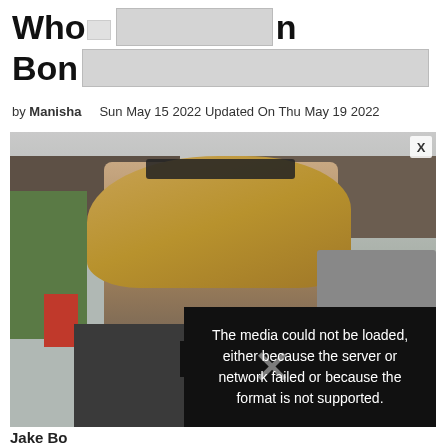Who [redacted] [redacted] n Bon [redacted]
by Manisha   Sun May 15 2022 Updated On Thu May 19 2022
[Figure (photo): Young man with long blonde hair and sunglasses on head, standing outdoors with stone buildings in background]
ARTEMIS· SHOP TENTS, CAMPING, AW
The media could not be loaded, either because the server or network failed or because the format is not supported.
Jake Bo